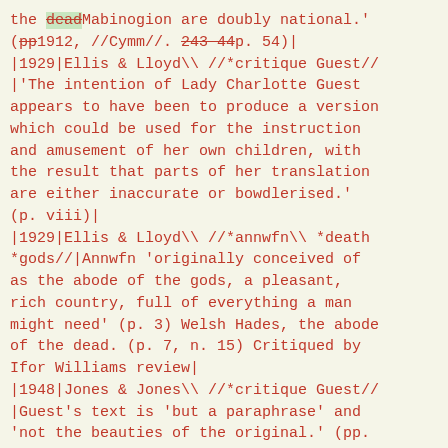the deadMabinogion are doubly national.' (pp1912, //Cymm//. 243 44p. 54)| |1929|Ellis & Lloyd\ //*critique Guest// |'The intention of Lady Charlotte Guest appears to have been to produce a version which could be used for the instruction and amusement of her own children, with the result that parts of her translation are either inaccurate or bowdlerised.' (p. viii)| |1929|Ellis & Lloyd\ //*annwfn\ *death *gods//|Annwfn 'originally conceived of as the abode of the gods, a pleasant, rich country, full of everything a man might need' (p. 3) Welsh Hades, the abode of the dead. (p. 7, n. 15) Critiqued by Ifor Williams review| |1948|Jones & Jones\ //*critique Guest// |Guest's text is 'but a paraphrase' and 'not the beauties of the original.' (pp.